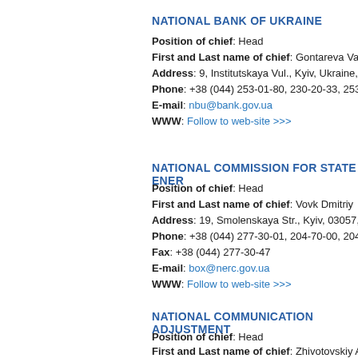NATIONAL BANK OF UKRAINE
Position of chief: Head
First and Last name of chief: Gontareva Vale...
Address: 9, Institutskaya Vul., Kyiv, Ukraine, 0...
Phone: +38 (044) 253-01-80, 230-20-33, 253-7...
E-mail: nbu@bank.gov.ua
WWW: Follow to web-site >>>
NATIONAL COMMISSION FOR STATE ENER...
Position of chief: Head
First and Last name of chief: Vovk Dmitriy
Address: 19, Smolenskaya Str., Kyiv, 03057, U...
Phone: +38 (044) 277-30-01, 204-70-00, 204-6...
Fax: +38 (044) 277-30-47
E-mail: box@nerc.gov.ua
WWW: Follow to web-site >>>
NATIONAL COMMUNICATION ADJUSTMENT...
Position of chief: Head
First and Last name of chief: Zhivotovskiy Ale...
Address: 22, Khreschatik Str., Kyiv, 01001, Uk...
Phone: +38 (044) 278-11-82, 278-11-83...